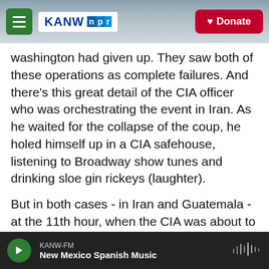KANW NPR | Donate
washington had given up. They saw both of these operations as complete failures. And there's this great detail of the CIA officer who was orchestrating the event in Iran. As he waited for the collapse of the coup, he holed himself up in a CIA safehouse, listening to Broadway show tunes and drinking sloe gin rickeys (laughter).
But in both cases - in Iran and Guatemala - at the 11th hour, when the CIA was about to pull the plug, everything turned. And the other side blinked, and Mossadegh collapsed. Arbenz collapsed. And the other key factor in both of these coups was they
KANW-FM
New Mexico Spanish Music